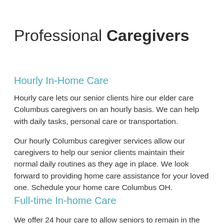Professional Caregivers
Hourly In-Home Care
Hourly care lets our senior clients hire our elder care Columbus caregivers on an hourly basis. We can help with daily tasks, personal care or transportation.
Our hourly Columbus caregiver services allow our caregivers to help our senior clients maintain their normal daily routines as they age in place. We look forward to providing home care assistance for your loved one. Schedule your home care Columbus OH.
Full-time In-home Care
We offer 24 hour care to allow seniors to remain in the home.